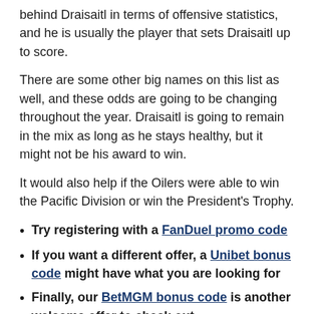behind Draisaitl in terms of offensive statistics, and he is usually the player that sets Draisaitl up to score.
There are some other big names on this list as well, and these odds are going to be changing throughout the year. Draisaitl is going to remain in the mix as long as he stays healthy, but it might not be his award to win.
It would also help if the Oilers were able to win the Pacific Division or win the President's Trophy.
Try registering with a FanDuel promo code
If you want a different offer, a Unibet bonus code might have what you are looking for
Finally, our BetMGM bonus code is another welcome offer to check out
Can Draisaitl Deliver Oilers a Title?
Putting up ridiculous offensive numbers has come easy for Draisaitl, but the next step is to lead the Oilers to a Stanley